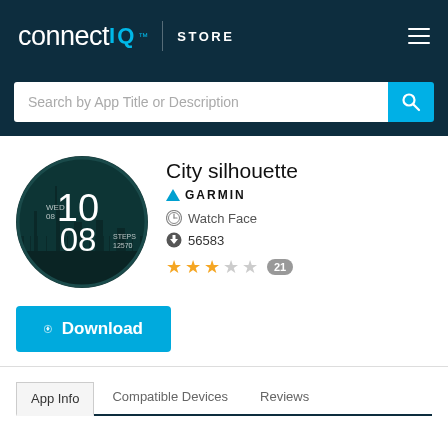connect IQ STORE
Search by App Title or Description
[Figure (screenshot): Circular watch face showing a city skyline silhouette, time 10:08, date WED 08, and steps 12570]
City silhouette
GARMIN
Watch Face
56583
★★★☆☆ 21
Download
App Info   Compatible Devices   Reviews